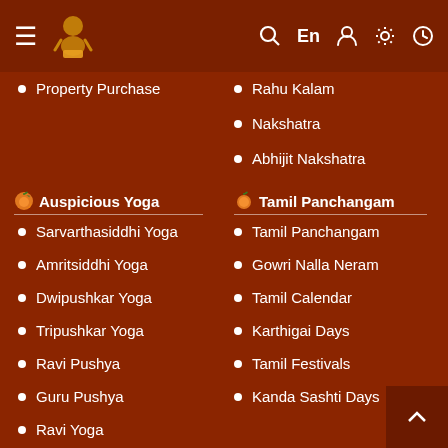≡ [logo] 🔍 En 👤 ⚙ ⏱
Property Purchase
Rahu Kalam
Nakshatra
Abhijit Nakshatra
🍊 Auspicious Yoga
🍊 Tamil Panchangam
Sarvarthasiddhi Yoga
Tamil Panchangam
Amritsiddhi Yoga
Gowri Nalla Neram
Dwipushkar Yoga
Tamil Calendar
Tripushkar Yoga
Karthigai Days
Ravi Pushya
Tamil Festivals
Guru Pushya
Kanda Sashti Days
Ravi Yoga